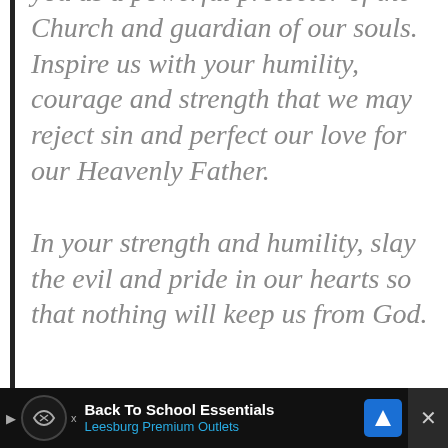you as a powerful protector of the Church and guardian of our souls. Inspire us with your humility, courage and strength that we may reject sin and perfect our love for our Heavenly Father.
In your strength and humility, slay the evil and pride in our hearts so that nothing will keep us from God.
And the closing prayer is even more striking:
St. Michael the Archangel, you are the
[Figure (other): Advertisement banner: Back To School Essentials - Leesburg Premium Outlets]